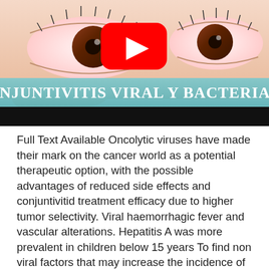[Figure (screenshot): YouTube video thumbnail showing a close-up of a human eye with pink/red conjunctiva (conjunctivitis). A YouTube play button icon (red rounded rectangle with white triangle) is centered on the image. A teal/light blue banner across the lower portion of the thumbnail reads 'Conjuntivitis Viral y Bacteriana' in white display text. Below the banner is a black strip at the bottom of the thumbnail.]
Full Text Available Oncolytic viruses have made their mark on the cancer world as a potential therapeutic option, with the possible advantages of reduced side effects and conjuntivitid treatment efficacy due to higher tumor selectivity. Viral haemorrhagic fever and vascular alterations. Hepatitis A was more prevalent in children below 15 years To find non viral factors that may increase the incidence of nasopharyngel carcinoma in order to prevent and avoid non- viral factors Literature: Rapid and